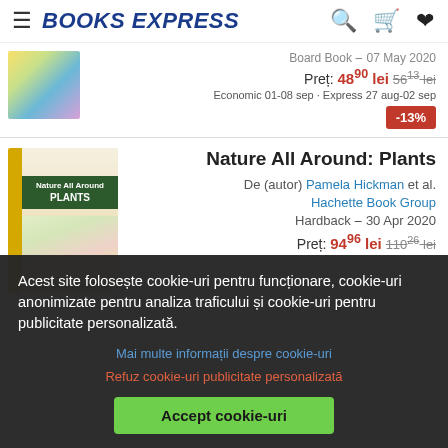BOOKS EXPRESS
Board Book – 07 May 2020
Preț: 48⁹⁰ lei 56¹³ lei
Economic 01-08 sep · Express 27 aug-02 sep
-13%
Nature All Around: Plants
De (autor) Pamela Hickman et al.
Hachette Book Group
Hardback – 30 Apr 2020
Preț: 94⁹⁶ lei 110²⁶ lei
Acest site folosește cookie-uri pentru funcționare, cookie-uri anonimizate pentru analiza traficului și cookie-uri pentru publicitate personalizată.
Mai multe informații despre cookie-uri
Refuz cookie-uri publicitate personalizată
Accept cookie-uri